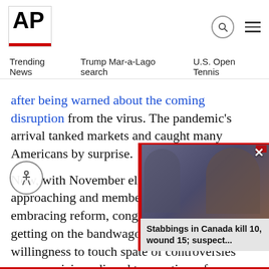AP
Trending News   Trump Mar-a-Lago search   U.S. Open Tennis
after being warned about the coming disruption from the virus. The pandemic's arrival tanked markets and caught many Americans by surprise.
Now, with November elections fast approaching and members of both parties embracing reform, congressional leaders are getting on the bandwagon expressing their willingness to tou[ch] sp[ate] of controversies over suspici[ous] [disc]losed transactions, few lawn[makers defend] the status quo, raising hopes that a[n overhaul] package is within reach.
[Figure (screenshot): Video overlay thumbnail showing two men's faces, with red left border stripe, close button X, and caption 'Stabbings in Canada kill 10, wound 15; suspect...']
Stabbings in Canada kill 10, wound 15; suspect...